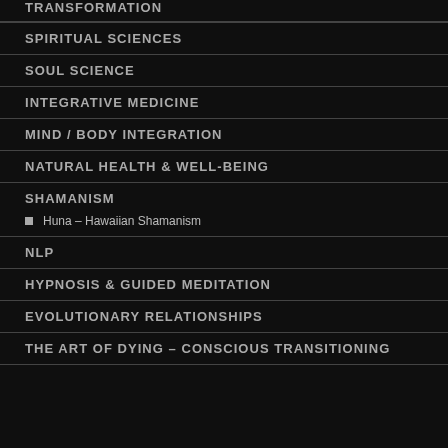TRANSFORMATION
SPIRITUAL SCIENCES
SOUL SCIENCE
INTEGRATIVE MEDICINE
MIND / BODY INTEGRATION
NATURAL HEALTH & WELL-BEING
SHAMANISM
Huna – Hawaiian Shamanism
NLP
HYPNOSIS & GUIDED MEDITATION
EVOLUTIONARY RELATIONSHIPS
THE ART OF DYING – CONSCIOUS TRANSITIONING